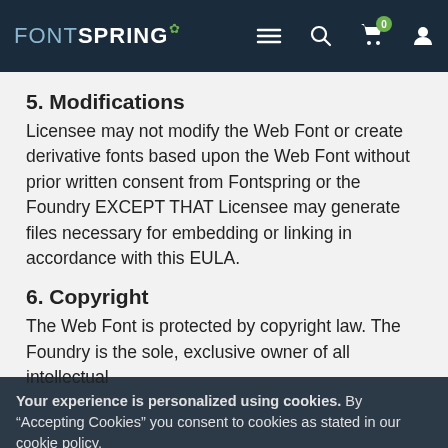FONTSPRING — navigation header with menu, search, cart (0), account icons
5. Modifications
Licensee may not modify the Web Font or create derivative fonts based upon the Web Font without prior written consent from Fontspring or the Foundry EXCEPT THAT Licensee may generate files necessary for embedding or linking in accordance with this EULA.
6. Copyright
The Web Font is protected by copyright law. The Foundry is the sole, exclusive owner of all intellectual
Your experience is personalized using cookies. By “Accepting Cookies” you consent to cookies as stated in our cookie policy.
Accept Cookies